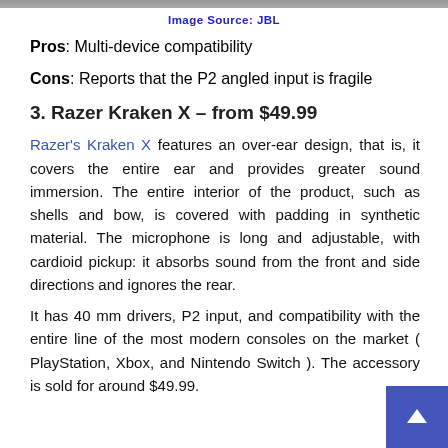[Figure (photo): Partial image of a headphone/headset product at the top of the page]
Image Source: JBL
Pros: Multi-device compatibility
Cons: Reports that the P2 angled input is fragile
3. Razer Kraken X – from $49.99
Razer's Kraken X features an over-ear design, that is, it covers the entire ear and provides greater sound immersion. The entire interior of the product, such as shells and bow, is covered with padding in synthetic material. The microphone is long and adjustable, with cardioid pickup: it absorbs sound from the front and side directions and ignores the rear.
It has 40 mm drivers, P2 input, and compatibility with the entire line of the most modern consoles on the market ( PlayStation, Xbox, and Nintendo Switch ). The accessory is sold for around $49.99.